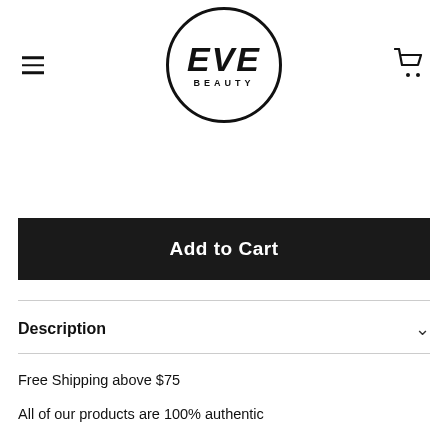[Figure (logo): EVE BEAUTY logo: bold italic 'EVE' text inside a black circle with 'BEAUTY' below in small caps]
Add to Cart
Description
Free Shipping above $75
All of our products are 100% authentic